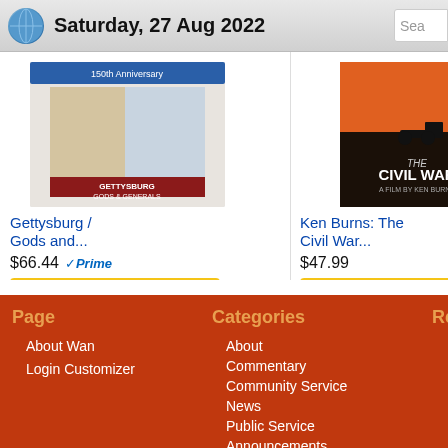Saturday, 27 Aug 2022
[Figure (photo): Book/DVD cover: Gettysburg / Gods and Generals blu-ray set with Confederate and Union flags]
Gettysburg / Gods and...
$66.44  Prime
Shop now
[Figure (photo): DVD cover: Ken Burns: The Civil War - film with cannon silhouette against orange sunset sky]
Ken Burns: The Civil War...
$47.99
Shop now
Page  Categories: About, Commentary, Community Service, News, Public Service Announcements, Recommended | Recent
Page
About Wan
Login Customizer
Categories
About
Commentary
Community Service
News
Public Service Announcements
Recommended
Recent